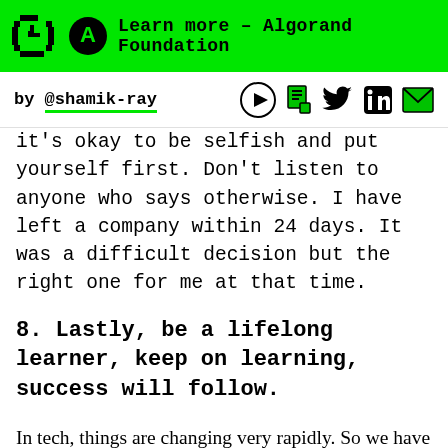Learn more – Algorand Foundation
by @shamik-ray
it's okay to be selfish and put yourself first. Don't listen to anyone who says otherwise. I have left a company within 24 days. It was a difficult decision but the right one for me at that time.
8. Lastly, be a lifelong learner, keep on learning, success will follow.
In tech, things are changing very rapidly. So we have to also adapt and unlearn and relearn things rapidly. In the last decade I have witnessed buzz around cloud computing, big data, AI, IOT, and now the hype around